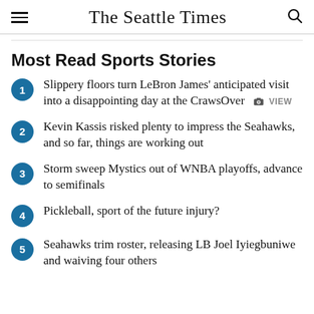The Seattle Times
Most Read Sports Stories
Slippery floors turn LeBron James' anticipated visit into a disappointing day at the CrawsOver  VIEW
Kevin Kassis risked plenty to impress the Seahawks, and so far, things are working out
Storm sweep Mystics out of WNBA playoffs, advance to semifinals
Pickleball, sport of the future injury?
Seahawks trim roster, releasing LB Joel Iyiegbuniwe and waiving four others